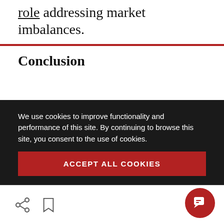role addressing market imbalances.
Conclusion
The coming transformation will test leadership teams profoundly. Automation will reshape national economies, throw labor markets into turmoil and change the rules of the game in many industries. Aging populations will strain
We use cookies to improve functionality and performance of this site. By continuing to browse this site, you consent to the use of cookies.
ACCEPT ALL COOKIES